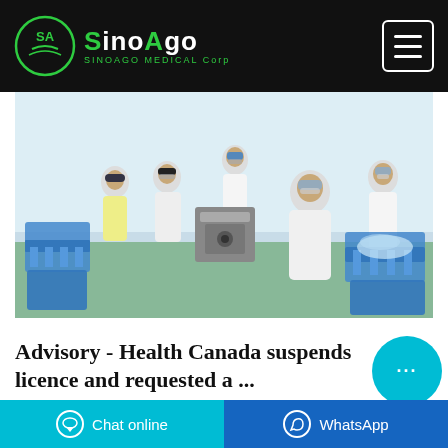SinoAgo Medical Corp
[Figure (photo): Workers in white lab coats and hair nets working in a medical cleanroom factory, handling blue plastic crates with medical supplies on machinery.]
Advisory - Health Canada suspends licence and requested a ...
Sep 23, 2021·In addition, Health
Chat online | WhatsApp